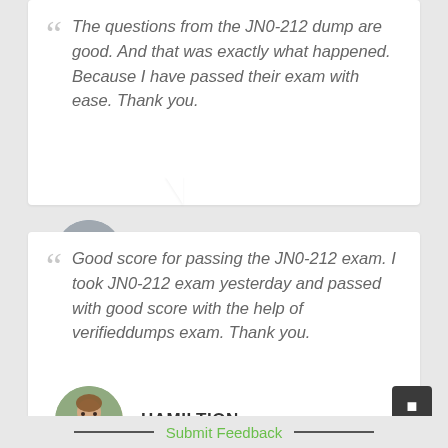The questions from the JN0-212 dump are good. And that was exactly what happened. Because I have passed their exam with ease. Thank you.
[Figure (photo): Avatar photo of Edwiin - person with glasses]
EDWIIN
Good score for passing the JN0-212 exam. I took JN0-212 exam yesterday and passed with good score with the help of verifieddumps exam. Thank you.
[Figure (photo): Avatar photo of Hamiltion - smiling woman]
HAMILTION
Submit Feedback